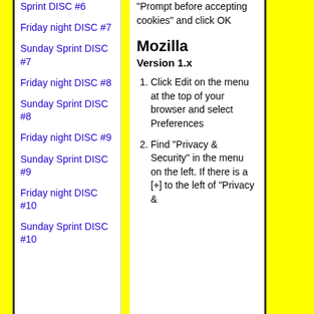Sprint DISC #6
Friday night DISC #7
Sunday Sprint DISC #7
Friday night DISC #8
Sunday Sprint DISC #8
Friday night DISC #9
Sunday Sprint DISC #9
Friday night DISC #10
Sunday Sprint DISC #10
"Prompt before accepting cookies" and click OK
Mozilla
Version 1.x
Click Edit on the menu at the top of your browser and select Preferences
Find "Privacy & Security" in the menu on the left. If there is a [+] to the left of "Privacy &